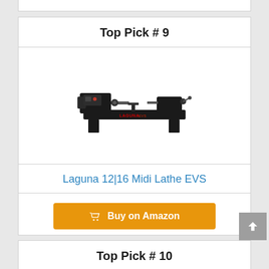Top Pick # 9
[Figure (photo): Laguna 12|16 Midi Lathe EVS - a black wood lathe with headstock on the left, bed in the middle, and tailstock on the right]
Laguna 12|16 Midi Lathe EVS
Buy on Amazon
Top Pick # 10